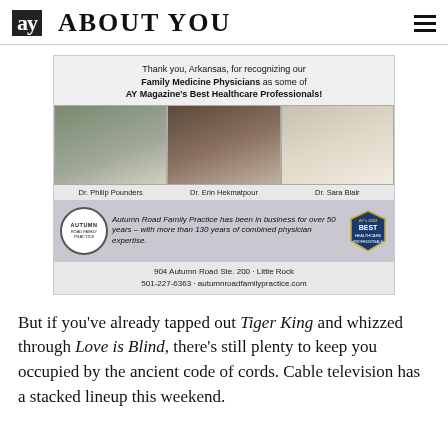ay ABOUT YOU
[Figure (photo): Advertisement for Autumn Road Family Practice featuring photos of Dr. Philip Pounders, Dr. Erin Hekmatpour, and Dr. Sara Blair, recognized as AY Magazine's Best Healthcare Professionals. Text: 'Thank you, Arkansas, for recognizing our Family Medicine Physicians as some of AY Magazine's Best Healthcare Professionals!' and 'Autumn Road Family Practice has been in business for over 50 years – with more than 130 years of combined physician expertise.' Address: 904 Autumn Road Ste. 200 · Little Rock, 501-227-6363 · autumnroadfamilypractice.com]
But if you've already tapped out Tiger King and whizzed through Love is Blind, there's still plenty to keep you occupied by the ancient code of cords. Cable television has a stacked lineup this weekend.